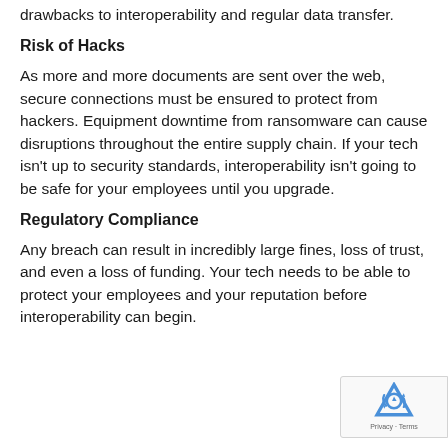drawbacks to interoperability and regular data transfer.
Risk of Hacks
As more and more documents are sent over the web, secure connections must be ensured to protect from hackers. Equipment downtime from ransomware can cause disruptions throughout the entire supply chain. If your tech isn't up to security standards, interoperability isn't going to be safe for your employees until you upgrade.
Regulatory Compliance
Any breach can result in incredibly large fines, loss of trust, and even a loss of funding. Your tech needs to be able to protect your employees and your reputation before interoperability can begin.